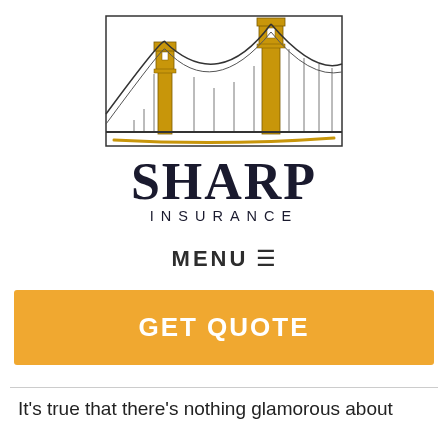[Figure (logo): Sharp Insurance logo featuring a hand-drawn suspension bridge illustration above the text 'SHARP INSURANCE']
MENU ☰
GET QUOTE
It's true that there's nothing glamorous about